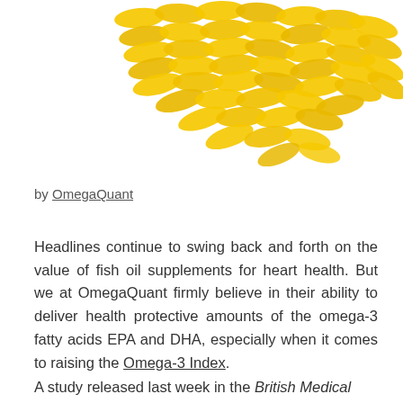[Figure (photo): Yellow/golden omega-3 fish oil supplement capsules/softgels arranged in a scattered pattern on a white background, viewed from above.]
by OmegaQuant
Headlines continue to swing back and forth on the value of fish oil supplements for heart health. But we at OmegaQuant firmly believe in their ability to deliver health protective amounts of the omega-3 fatty acids EPA and DHA, especially when it comes to raising the Omega-3 Index.
A study released last week in the British Medical